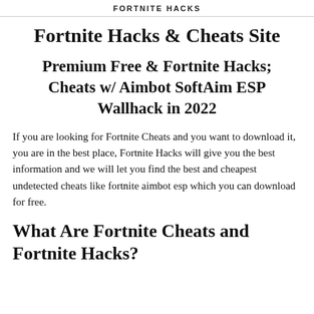FORTNITE HACKS
Fortnite Hacks & Cheats Site
Premium Free & Fortnite Hacks; Cheats w/ Aimbot SoftAim ESP Wallhack in 2022
If you are looking for Fortnite Cheats and you want to download it, you are in the best place, Fortnite Hacks will give you the best information and we will let you find the best and cheapest undetected cheats like fortnite aimbot esp which you can download for free.
What Are Fortnite Cheats and Fortnite Hacks?